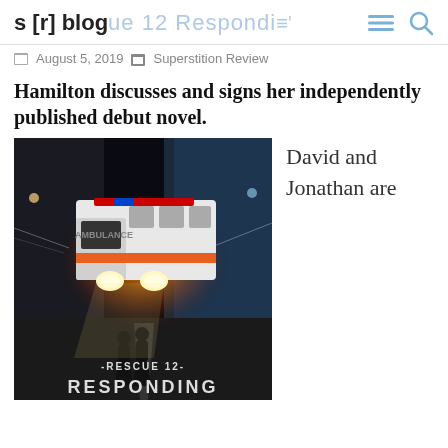s [r] blog  ue 12 Responding'
August 5, 2019   Superstition Review
Hamilton discusses and signs her independently published debut novel.
[Figure (photo): Book cover of 'Rescue 12 - Responding' showing an ambulance driving fast through a tunnel at night with two figures silhouetted in the headlights. The text 'RESCUE 12 RESPONDING' appears at the bottom of the cover.]
David and Jonathan are